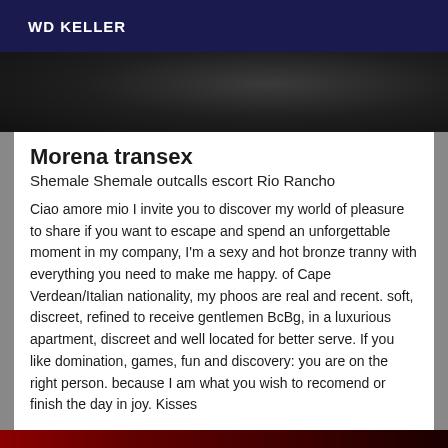WD KELLER
[Figure (photo): Dark photo showing black leather or material with metallic object, dimly lit]
Morena transex
Shemale Shemale outcalls escort Rio Rancho
Ciao amore mio I invite you to discover my world of pleasure to share if you want to escape and spend an unforgettable moment in my company, I'm a sexy and hot bronze tranny with everything you need to make me happy. of Cape Verdean/Italian nationality, my phoos are real and recent. soft, discreet, refined to receive gentlemen BcBg, in a luxurious apartment, discreet and well located for better serve. If you like domination, games, fun and discovery: you are on the right person. because I am what you wish to recomend or finish the day in joy. Kisses
[Figure (photo): Partial image with dark red tones at bottom of page]